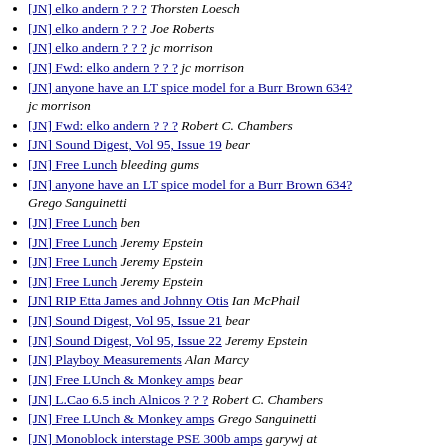[JN] elko andern ? ? ?  Thorsten Loesch
[JN] elko andern ? ? ?  Joe Roberts
[JN] elko andern ? ? ?  jc morrison
[JN] Fwd: elko andern ? ? ?  jc morrison
[JN] anyone have an LT spice model for a Burr Brown 634?  jc morrison
[JN] Fwd: elko andern ? ? ?  Robert C. Chambers
[JN] Sound Digest, Vol 95, Issue 19  bear
[JN] Free Lunch  bleeding gums
[JN] anyone have an LT spice model for a Burr Brown 634?  Grego Sanguinetti
[JN] Free Lunch  ben
[JN] Free Lunch  Jeremy Epstein
[JN] Free Lunch  Jeremy Epstein
[JN] Free Lunch  Jeremy Epstein
[JN] RIP Etta James and Johnny Otis  Ian McPhail
[JN] Sound Digest, Vol 95, Issue 21  bear
[JN] Sound Digest, Vol 95, Issue 22  Jeremy Epstein
[JN] Playboy Measurements  Alan Marcy
[JN] Free LUnch & Monkey amps  bear
[JN] L.Cao 6.5 inch Alnicos ? ? ?  Robert C. Chambers
[JN] Free LUnch & Monkey amps  Grego Sanguinetti
[JN] Monoblock interstage PSE 300b amps  garywj at comcast.net
[JN] Free LUnch & ...  ben
[JN] L.Cao 6.5 inch Alnicos ? ? ?  Robert C. Chambers